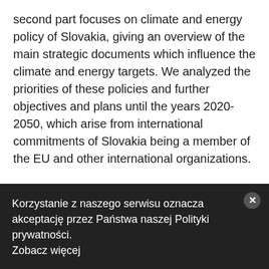second part focuses on climate and energy policy of Slovakia, giving an overview of the main strategic documents which influence the climate and energy targets. We analyzed the priorities of these policies and further objectives and plans until the years 2020-2050, which arise from international commitments of Slovakia being a member of the EU and other international organizations.
2) Coal mining sector transition in Slovakia
Korzystanie z naszego serwisu oznacza akceptację przez Państwa naszej Polityki prywatności. Zobacz więcej